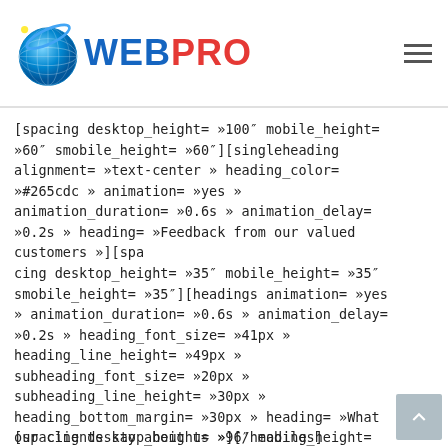WEBPRO
[spacing desktop_height= »100″ mobile_height= »60″ smobile_height= »60″][singleheading alignment= »text-center » heading_color= »#265cdc » animation= »yes » animation_duration= »0.6s » animation_delay= »0.2s » heading= »Feedback from our valued customers »][spacing desktop_height= »35″ mobile_height= »35″ smobile_height= »35″][headings animation= »yes » animation_duration= »0.6s » animation_delay= »0.2s » heading_font_size= »41px » heading_line_height= »49px » subheading_font_size= »20px » subheading_line_height= »30px » heading_bottom_margin= »30px » heading= »What our clients say about us »][/headings][testimonials3][spacing desktop_height= »100″ mobile_height= »60″ smobile_height= »60″]
[spacing desktop_height= »96″ mobile_height= »60″ smobile_height= »60″][headings